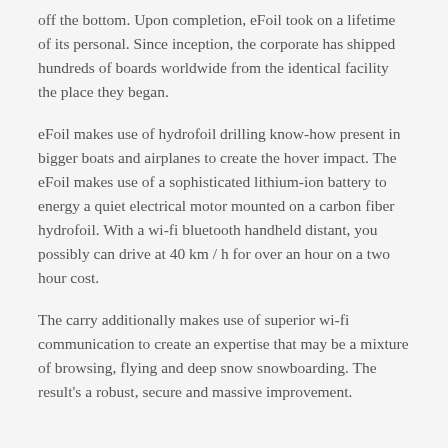off the bottom. Upon completion, eFoil took on a lifetime of its personal. Since inception, the corporate has shipped hundreds of boards worldwide from the identical facility the place they began.
eFoil makes use of hydrofoil drilling know-how present in bigger boats and airplanes to create the hover impact. The eFoil makes use of a sophisticated lithium-ion battery to energy a quiet electrical motor mounted on a carbon fiber hydrofoil. With a wi-fi bluetooth handheld distant, you possibly can drive at 40 km / h for over an hour on a two hour cost.
The carry additionally makes use of superior wi-fi communication to create an expertise that may be a mixture of browsing, flying and deep snow snowboarding. The result's a robust, secure and massive improvement.